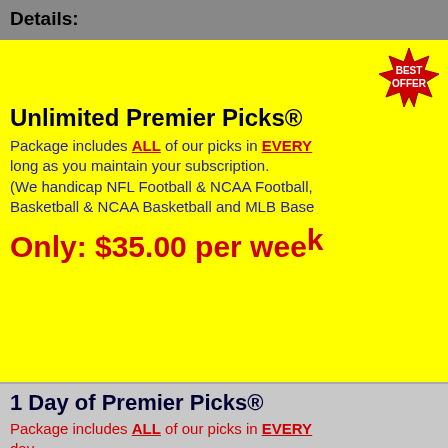Details:
Unlimited Premier Picks®
Package includes ALL of our picks in EVERY sport for as long as you maintain your subscription. (We handicap NFL Football & NCAA Football, NBA & NCAA Basketball & NCAA Basketball and MLB Baseball.)
Only: $35.00 per week
1 Day of Premier Picks®
Package includes ALL of our picks in EVERY sport on that day. (We handicap NFL & NCAA Football, NBA & NCAA Basketball and MLB.)
Only: $20.00
2 Days of Premier Picks®
Package includes ALL of our picks in EVERY sport for 2 days. (We handicap NFL & NCAA Football, NBA & NCAA Basketball and MLB.)
Only: $30.00
3 Days of Premier Picks®
Package includes ALL of our picks in EVERY sport for 3 days. (We handicap NFL & NCAA Football, NBA & N...)